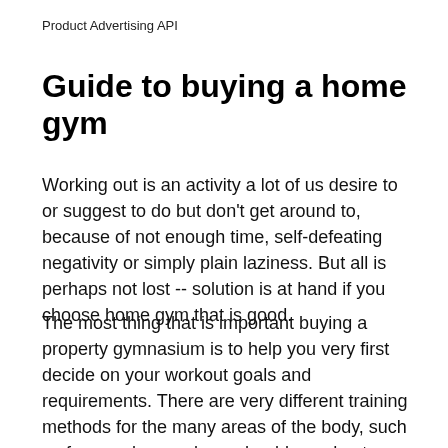Product Advertising API
Guide to buying a home gym
Working out is an activity a lot of us desire to or suggest to do but don't get around to, because of not enough time, self-defeating negativity or simply plain laziness. But all is perhaps not lost -- solution is at hand if you choose home gym that is good.
The most thing that is important buying a property gymnasium is to help you very first decide on your workout goals and requirements. There are very different training methods for the many areas of the body, such as for your legs, calves, shoulders, chest, hands, straight back or abs etc. Some people exercise for overall fitness while other people would